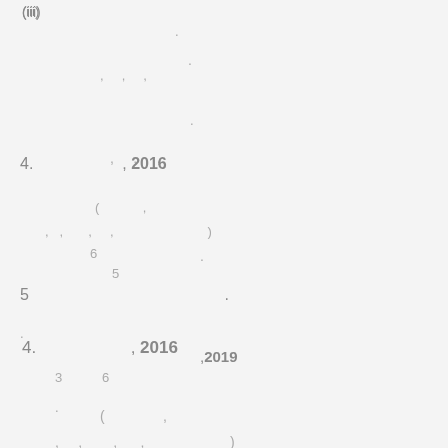(iii)
.
, , ,
.
4. , 2016
( ,
, , , , )
6
5
5 .
.
,2019
3 6
.